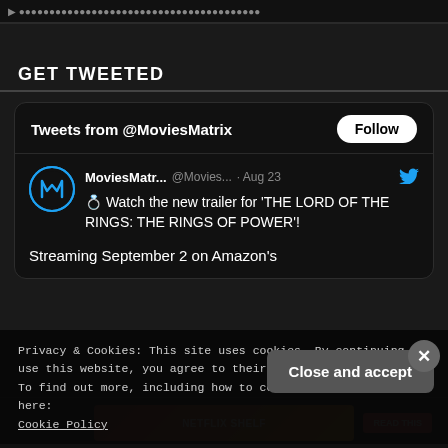GET TWEETED
[Figure (screenshot): Twitter/X widget showing tweets from @MoviesMatrix. Tweet from MoviesMatr... @Movies... Aug 23: '💍 Watch the new trailer for THE LORD OF THE RINGS: THE RINGS OF POWER'! Streaming September 2 on Amazon's']
Privacy & Cookies: This site uses cookies. By continuing to use this website, you agree to their use.
To find out more, including how to control cookies, see here:
Cookie Policy
Close and accept